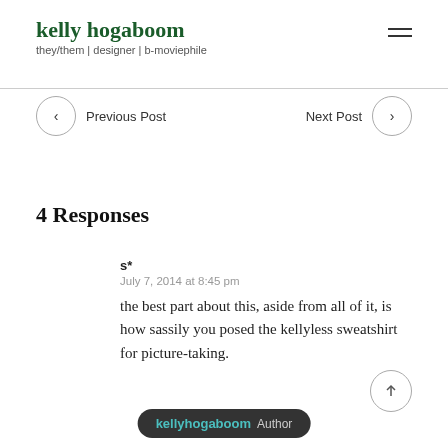kelly hogaboom
they/them | designer | b-moviephile
Previous Post
Next Post
4 Responses
s*
July 7, 2014 at 8:45 pm
the best part about this, aside from all of it, is how sassily you posed the kellyless sweatshirt for picture-taking.
kellyhogaboom Author